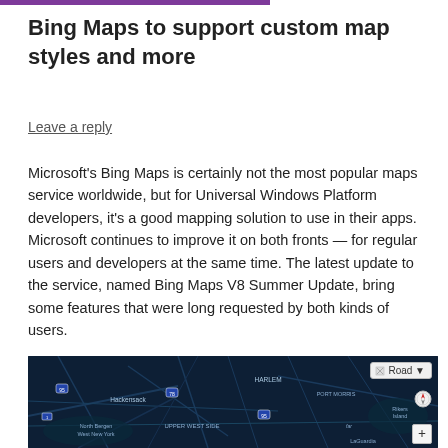Bing Maps to support custom map styles and more
Leave a reply
Microsoft's Bing Maps is certainly not the most popular maps service worldwide, but for Universal Windows Platform developers, it's a good mapping solution to use in their apps. Microsoft continues to improve it on both fronts — for regular users and developers at the same time. The latest update to the service, named Bing Maps V8 Summer Update, bring some features that were long requested by both kinds of users.
[Figure (screenshot): Screenshot of Bing Maps showing a dark satellite/road hybrid view of the New York/New Jersey area including Hackensack, Harlem, North Bergen, West New York, Port Morris, Riders Island, and LaGuardia. A 'Road' dropdown button and compass/zoom controls are visible.]